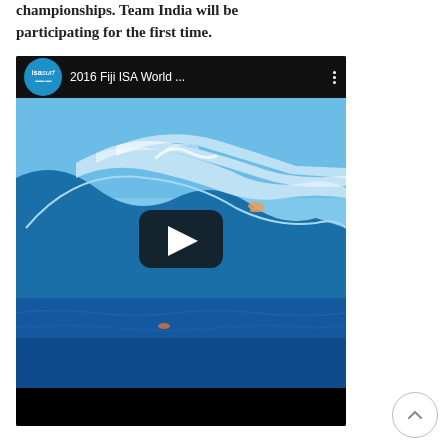championships. Team India will be participating for the first time.
[Figure (screenshot): YouTube video thumbnail showing the 2016 Fiji ISA World surfing championship. The thumbnail shows a large blue wave with a surfer, displayed in a video player interface with the ISA surf logo, video title '2016 Fiji ISA World ...', and a play button overlay.]